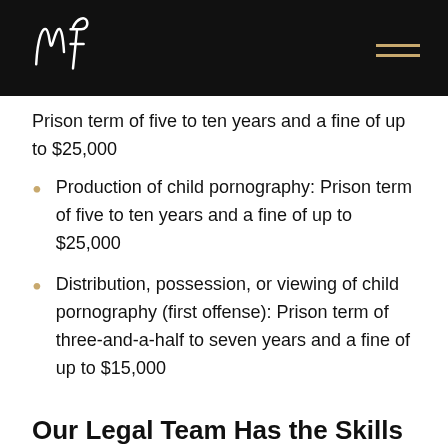mf [logo]
Prison term of five to ten years and a fine of up to $25,000
Production of child pornography: Prison term of five to ten years and a fine of up to $25,000
Distribution, possession, or viewing of child pornography (first offense): Prison term of three-and-a-half to seven years and a fine of up to $15,000
Our Legal Team Has the Skills and Resources to Beat Child